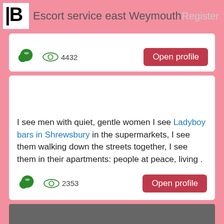Escort service east Weymouth
4432
Open profile
I see men with quiet, gentle women I see Ladyboy bars in Shrewsbury in the supermarkets, I see them walking down the streets together, I see them in their apartments: people at peace, living .
2353
Open profile